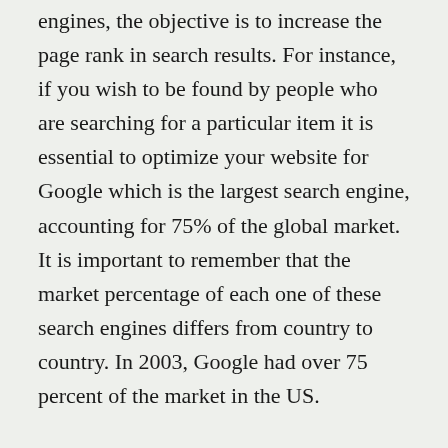engines, the objective is to increase the page rank in search results. For instance, if you wish to be found by people who are searching for a particular item it is essential to optimize your website for Google which is the largest search engine, accounting for 75% of the global market. It is important to remember that the market percentage of each one of these search engines differs from country to country. In 2003, Google had over 75 percent of the market in the US.
The best SEO techniques are optimized for the top search engines in a target market. Although each search engine has a distinct market share, Google still holds 75 percent of the US market. In 2006, Google had eighty-five percent of the German market. There are more than 100 SEO companies in the UK,